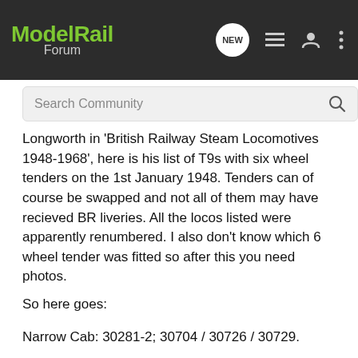ModelRail Forum
Search Community
Longworth in 'British Railway Steam Locomotives 1948-1968', here is his list of T9s with six wheel tenders on the 1st January 1948. Tenders can of course be swapped and not all of them may have recieved BR liveries. All the locos listed were apparently renumbered. I also don't know which 6 wheel tender was fitted so after this you need photos.
So here goes:
Narrow Cab: 30281-2; 30704 / 30726 / 30729.
Wide Cab: 30300-01 / 30304 / 30307 / 30310-13 / 30336.
Therefore 30310 must have gained an 8 wheel tender in BR days or Hugh Longworth is wrong! This all goes to show how difficult all this is and that your best guide is to try and find a